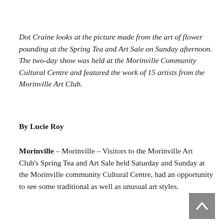Dot Craine looks at the picture made from the art of flower pounding at the Spring Tea and Art Sale on Sunday afternoon. The two-day show was held at the Morinville Community Cultural Centre and featured the work of 15 artists from the Morinville Art Club.
By Lucie Roy
Morinville – Morinville – Visitors to the Morinville Art Club's Spring Tea and Art Sale held Saturday and Sunday at the Morinville community Cultural Centre, had an opportunity to see some traditional as well as unusual art styles.